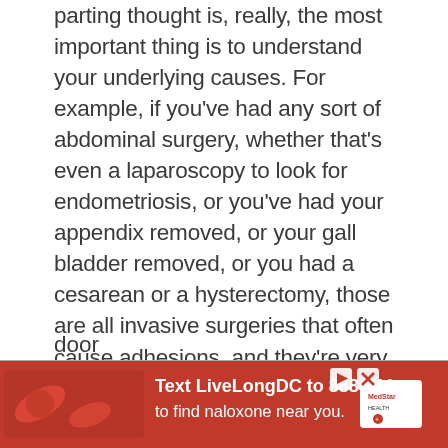parting thought is, really, the most important thing is to understand your underlying causes. For example, if you've had any sort of abdominal surgery, whether that's even a laparoscopy to look for endometriosis, or you've had your appendix removed, or your gall bladder removed, or you had a cesarean or a hysterectomy, those are all invasive surgeries that often cause adhesions, and they're very much linked with SIBO. That was actually a recent study that showed that even minor abdominal surgery causes adhesions, and breath tests were often abnormal after that. That would then require a visceral manipulation person that can work with you to help alleviate those. Then you're done with SIBO treatments. Otherwise, it might a revolving door
[Figure (infographic): Red advertisement banner: 'Text LiveLongDC to 888-811 to find naloxone near you.' with MedStar Health logo and icons on right.]